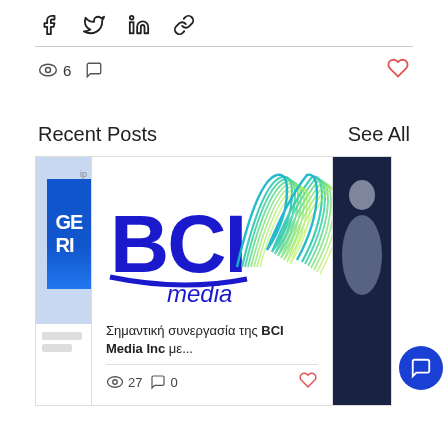[Figure (screenshot): Social share toolbar with Facebook, Twitter, LinkedIn, and link icons]
6 views, 0 comments, heart/like button
Recent Posts
See All
[Figure (screenshot): Partial card on left (cropped)]
[Figure (screenshot): BCI Media Inc card with logo image, Greek text: Σημαντική συνεργασία της BCI Media Inc με..., 27 views, 0 comments, heart icon]
[Figure (screenshot): Partial card on right showing a dark background with a person]